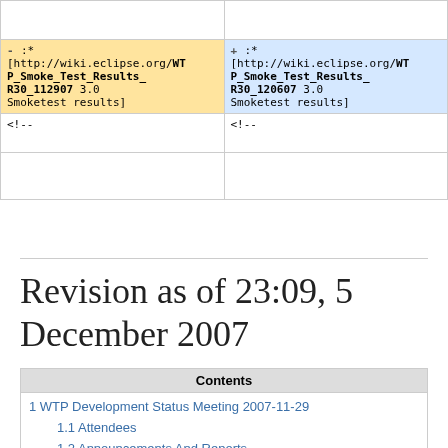| Left (old) | Right (new) |
| --- | --- |
|  |  |
| :*
[http://wiki.eclipse.org/WTP_Smoke_Test_Results_R30_112907 3.0 Smoketest results] | :*
[http://wiki.eclipse.org/WTP_Smoke_Test_Results_R30_120607 3.0 Smoketest results] |
| <!-- | <!-- |
|  |  |
Revision as of 23:09, 5 December 2007
| Contents |
| --- |
| 1 WTP Development Status Meeting 2007-11-29 |
| 1.1 Attendees |
| 1.2 Announcements And Reports |
| 1.3 Action Items For Project Leads |
| 1.3.1 Focus on Backlog and Quality |